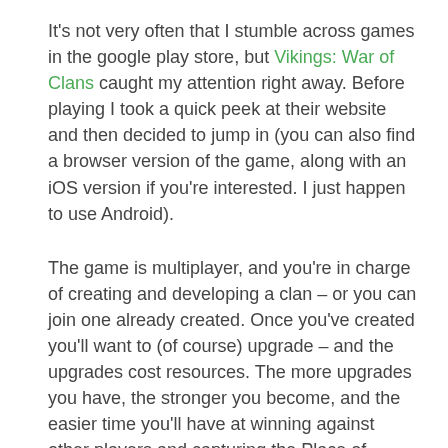It's not very often that I stumble across games in the google play store, but Vikings: War of Clans caught my attention right away. Before playing I took a quick peek at their website and then decided to jump in (you can also find a browser version of the game, along with an iOS version if you're interested. I just happen to use Android).
The game is multiplayer, and you're in charge of creating and developing a clan – or you can join one already created. Once you've created you'll want to (of course) upgrade – and the upgrades cost resources. The more upgrades you have, the stronger you become, and the easier time you'll have at winning against other players and capturing the Place of Power (a central location within a map).